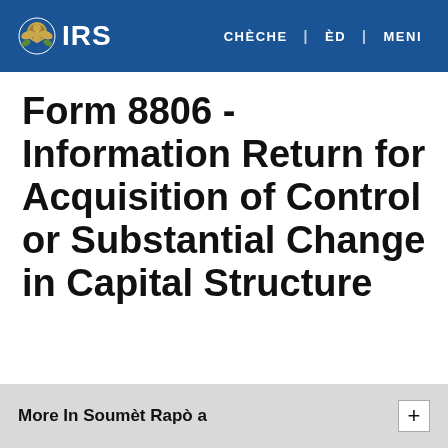IRS  CHÈCHE | ÈD | MENI
Form 8806 - Information Return for Acquisition of Control or Substantial Change in Capital Structure
More In Soumèt Rapò a